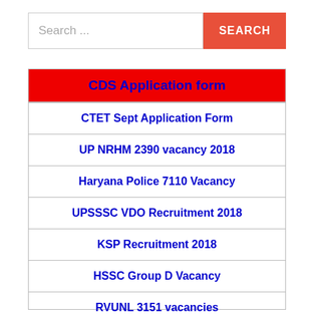Search ...
SEARCH
CDS Application form
CTET Sept Application Form
UP NRHM 2390 vacancy 2018
Haryana Police 7110 Vacancy
UPSSSC VDO Recruitment 2018
KSP Recruitment 2018
HSSC Group D Vacancy
RVUNL 3151 vacancies